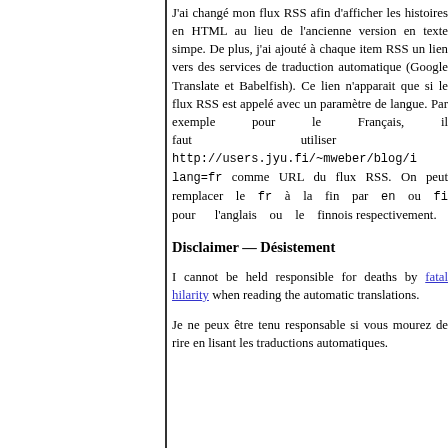J'ai changé mon flux RSS afin d'afficher les histoires en HTML au lieu de l'ancienne version en texte simpe. De plus, j'ai ajouté à chaque item RSS un lien vers des services de traduction automatique (Google Translate et Babelfish). Ce lien n'apparait que si le flux RSS est appelé avec un paramètre de langue. Par exemple pour le Français, il faut utiliser http://users.jyu.fi/~mweber/blog/i lang=fr comme URL du flux RSS. On peut remplacer le fr à la fin par en ou fi pour l'anglais ou le finno respectivement.
Disclaimer — Désistement
I cannot be held responsible for deaths by fatal hilarity when reading the automatic translations.
Je ne peux être tenu responsable si vous mourez de rire en lisant les traductions automatiques.